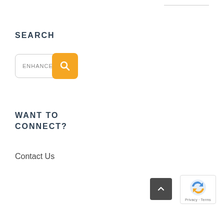SEARCH
[Figure (screenshot): Search input box with text ENHANCE and an orange search button with magnifying glass icon]
WANT TO CONNECT?
Contact Us
[Figure (other): Back to top button (dark grey with upward chevron) and reCAPTCHA badge with Privacy and Terms links]